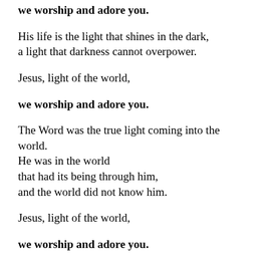we worship and adore you.
His life is the light that shines in the dark,
a light that darkness cannot overpower.
Jesus, light of the world,
we worship and adore you.
The Word was the true light coming into the world.
He was in the world
that had its being through him,
and the world did not know him.
Jesus, light of the world,
we worship and adore you.